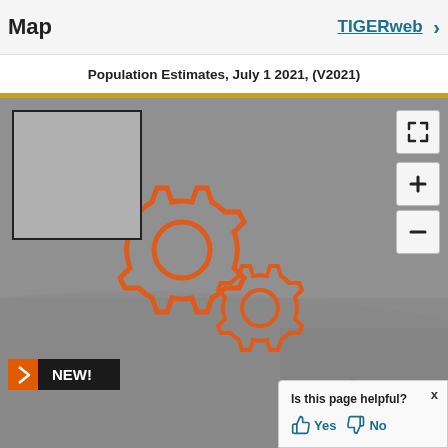Map
TIGERweb >
Population Estimates, July 1 2021, (V2021)
[Figure (map): Interactive US Census Bureau map showing population estimates for July 1 2021 (V2021). Map is loading indicated by two orange gear icons in the center. A thumbnail overview map appears in the top-left corner. Zoom controls (+/-) and fullscreen button appear on the right side.]
NEW!
Is this page helpful? Yes No